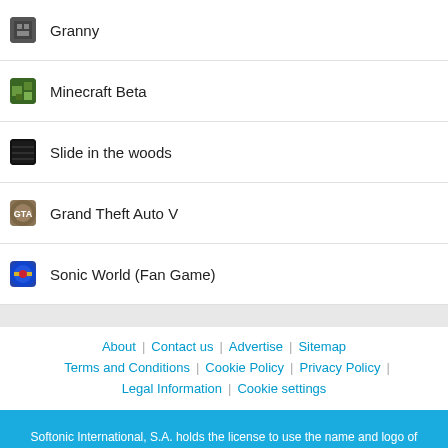Granny
Minecraft Beta
Slide in the woods
Grand Theft Auto V
Sonic World (Fan Game)
About | Contact us | Advertise | Sitemap | Terms and Conditions | Cookie Policy | Privacy Policy | Legal Information | Cookie settings
Softonic International, S.A. holds the license to use the name and logo of Filehippo.